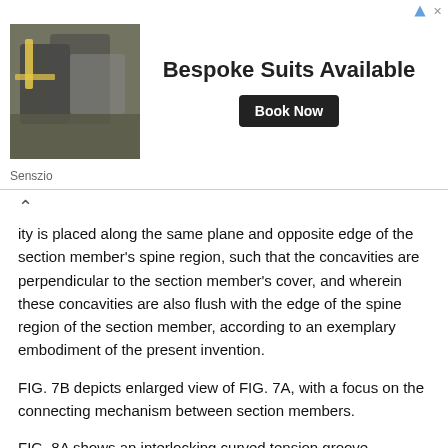[Figure (photo): Advertisement banner: image of hands handling fabric/suits on the left, text 'Bespoke Suits Available' in bold with a 'Book Now' button, source label 'Senszio']
ity is placed along the same plane and opposite edge of the section member's spine region, such that the concavities are perpendicular to the section member's cover, and wherein these concavities are also flush with the edge of the spine region of the section member, according to an exemplary embodiment of the present invention.
FIG. 7B depicts enlarged view of FIG. 7A, with a focus on the connecting mechanism between section members.
FIG. 8A shows an interlocking curved tension groove mechanism between section members wherein this interlocking mechanism is flexible and allows the section members to rotate along the axis created by the unique elements that snap one section member into another section member, with one or more unique convexities are placed along one edge of the section member's spine region, and at least one complimentary unique concavity is placed along the same plane and opposite edge of the section member's spine region, such that the concavities are perpendicular to the section member's cover, and these concavities are also flush with the edge of the spine region of the section member, according to an exemplary